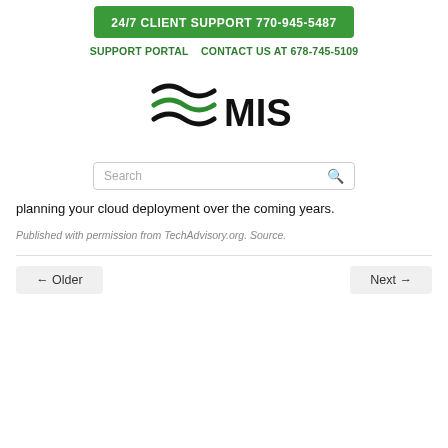24/7 CLIENT SUPPORT 770-945-5487
SUPPORT PORTAL   CONTACT US AT 678-745-5109
[Figure (logo): MIS logo with green and black wave lines and the text MIS]
Search
planning your cloud deployment over the coming years.
Published with permission from TechAdvisory.org. Source.
← Older
Next →